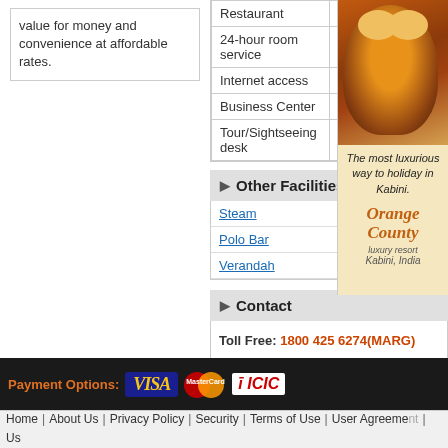value for money and convenience at affordable rates.
| Restaurant | Doctor |
| 24-hour room service | Bar |
| Internet access | Swimming Pool |
| Business Center | Laundry |
| Tour/Sightseeing desk | Luggage |
Other Facilities
Steam
Polo Bar
Verandah
Contact
Toll Free: 1800 425 6274(MARG)
Phone: (040) 40 02 02 02
E-Mail: customercare@travelm...
[Figure (illustration): Orange County luxury resort Kabini advertisement with tiger photo]
[Figure (illustration): Best Deals on Bangalore Mysore advertisement]
Payment Options: VISA | MasterCard | ICICI
Home | About Us | Privacy Policy | Security | Terms of Use | User Agreement | Us